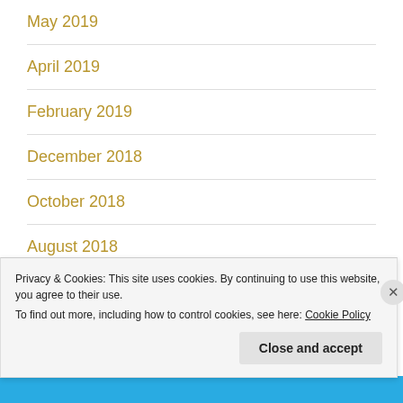May 2019
April 2019
February 2019
December 2018
October 2018
August 2018
Privacy & Cookies: This site uses cookies. By continuing to use this website, you agree to their use.
To find out more, including how to control cookies, see here: Cookie Policy
Close and accept